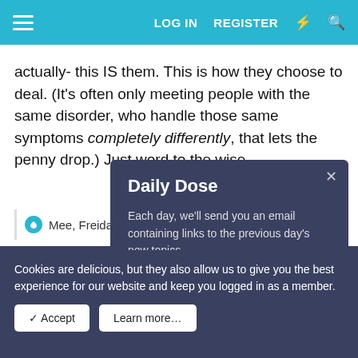LOG IN   REGISTER
actually- this IS them. This is how they choose to deal. (It’s often only meeting people with the same disorder, who handle those same symptoms completely differently, that lets the penny drop.) Just word to the wise.
Mee, Freida, De…
May 18, 2022
Scottbraveheart
Not Active
[Figure (screenshot): Daily Dose modal popup with title 'Daily Dose', body text 'Each day, we'll send you an email containing links to the previous day’s new topics.', and a CLICK TO SUBSCRIBE button]
Cookies are delicious, but they also allow us to give you the best experience for our website and keep you logged in as a member.
✓ Accept   Learn more…